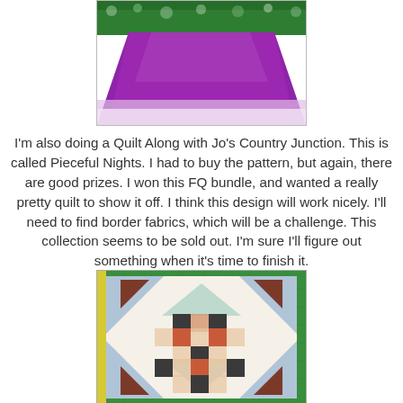[Figure (photo): Photo of a quilt block with purple/magenta and green floral fabrics, partially completed, shown against a white background.]
I'm also doing a Quilt Along with Jo's Country Junction.  This is called Pieceful Nights.  I had to buy the pattern, but again, there are good prizes.  I won this FQ bundle, and wanted a really pretty quilt to show it off.  I think this design will work nicely.  I'll need to find border fabrics, which will be a challenge.   This collection seems to be sold out.  I'm sure I'll figure out something when it's time to finish it.
[Figure (photo): Photo of a quilt block called Pieceful Nights, showing a patchwork design with cream/white background, rust/brown triangles at corners, and a center nine-patch arrangement of dark charcoal, rust dotted, and peach/pink floral squares, set on a green cutting mat.]